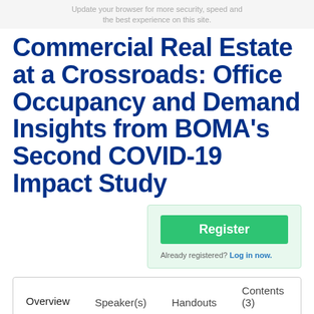Update your browser for more security, speed and the best experience on this site.
Commercial Real Estate at a Crossroads: Office Occupancy and Demand Insights from BOMA's Second COVID-19 Impact Study
[Figure (other): Register button box with green Register button and 'Already registered? Log in now.' link]
Overview | Speaker(s) | Handouts | Contents (3)
As businesses reconsider their physical